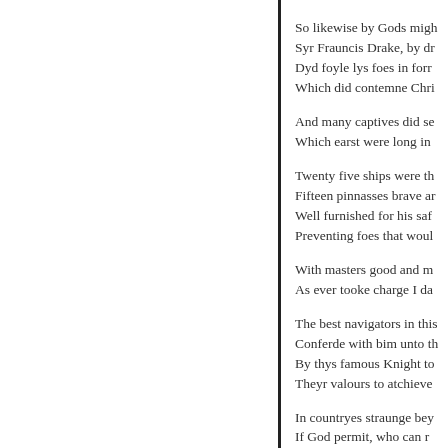So likewise by Gods migh
Syr Frauncis Drake, by dr
Dyd foyle lys foes in forr
Which did contemne Chri

And many captives did se
Which earst were long in

Twenty five ships were th
Fifteen pinnasses brave ar
Well furnished for his saf
Preventing foes that woul

With masters good and m
As ever tooke charge I da

The best navigators in this
Conferde with bim unto th
By thys famous Knight to
Theyr valours to atchieve

In countryes straunge bey
If God permit, who can r